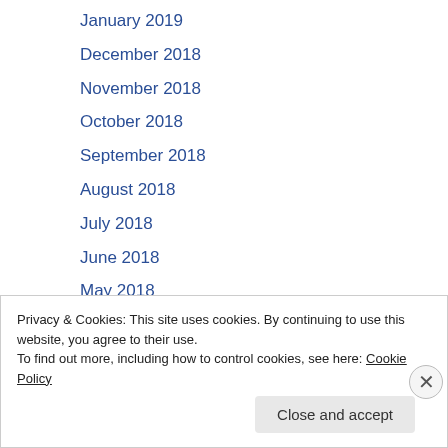January 2019
December 2018
November 2018
October 2018
September 2018
August 2018
July 2018
June 2018
May 2018
April 2018
March 2018
February 2018
Privacy & Cookies: This site uses cookies. By continuing to use this website, you agree to their use.
To find out more, including how to control cookies, see here: Cookie Policy
Close and accept